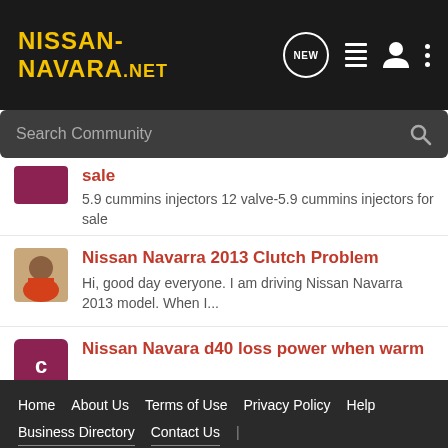NISSAN-NAVARA.NET
Search Community
sale
5.9 cummins injectors 12 valve-5.9 cummins injectors for sale
Nissan Navarra 2013 Clutch Problem
Hi, good day everyone. I am driving Nissan Navarra 2013 model. When I...
Nissan Navara d40 loss power when warm
Showcase
Home   About Us   Terms of Use   Privacy Policy   Help   Business Directory   Contact Us